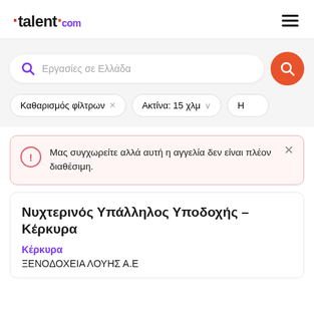talent.com
Εργασίες σε Ελλάδα
Καθαρισμός φίλτρων × Ακτίνα: 15 χλμ ∨ Η
Μας συγχωρείτε αλλά αυτή η αγγελία δεν είναι πλέον διαθέσιμη.
Νυχτερινός Υπάλληλος Υποδοχής – Κέρκυρα
Κέρκυρα
ΞΕΝΟΔΟΧΕΙΑ ΛΟΥΗΣ Α.Ε